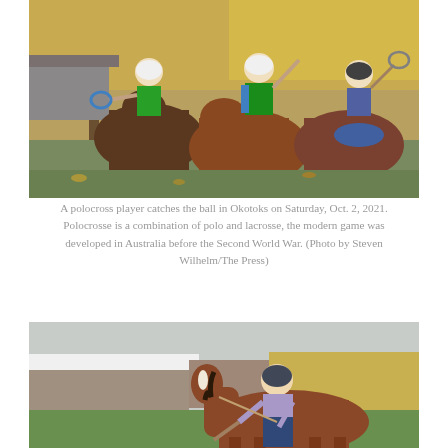[Figure (photo): Three polocrosse players on horseback competing in Okotoks. Two players in green vests and white helmets, one in plaid with a dark helmet, holding polocrosse rackets. Autumn yellow trees in background.]
A polocross player catches the ball in Okotoks on Saturday, Oct. 2, 2021. Polocrosse is a combination of polo and lacrosse, the modern game was developed in Australia before the Second World War. (Photo by Steven Wilhelm/The Press)
[Figure (photo): A polocrosse player in a purple/lavender shirt and dark helmet riding a chestnut horse, leaning forward holding a racket. Farm buildings and autumn trees visible in the background.]